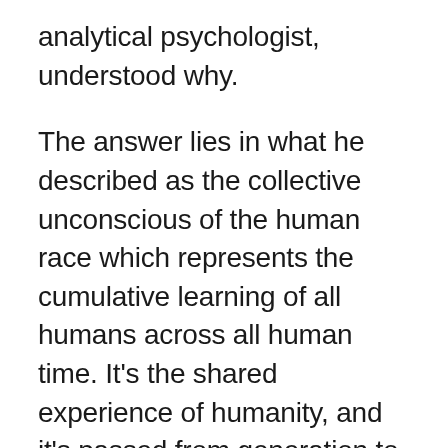analytical psychologist, understood why.
The answer lies in what he described as the collective unconscious of the human race which represents the cumulative learning of all humans across all human time. It’s the shared experience of humanity, and it’s passed from generation to generation through stories. It also manifests as instincts and intuition in newborns and children. Think of it this way: If you believe that an individual human soul survives a body’s death, then it stands to reason that the collective experiential energy of all human